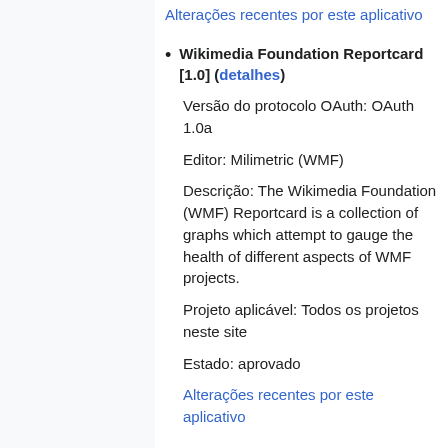Alterações recentes por este aplicativo
Wikimedia Foundation Reportcard [1.0] (detalhes)
Versão do protocolo OAuth: OAuth 1.0a
Editor: Milimetric (WMF)
Descrição: The Wikimedia Foundation (WMF) Reportcard is a collection of graphs which attempt to gauge the health of different aspects of WMF projects.
Projeto aplicável: Todos os projetos neste site
Estado: aprovado
Alterações recentes por este aplicativo